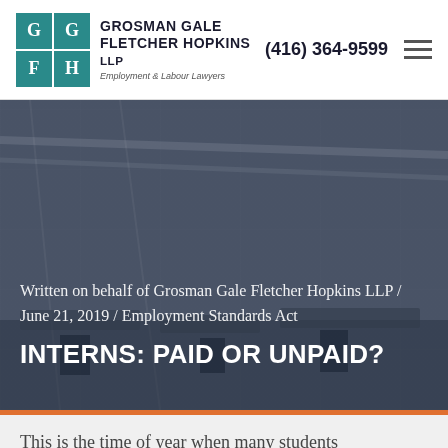Grosman Gale Fletcher Hopkins LLP | (416) 364-9599
[Figure (photo): Background photo of an open-plan office with people working at desks, overlaid with a dark semi-transparent blue-grey tint]
Written on behalf of Grosman Gale Fletcher Hopkins LLP / June 21, 2019 / Employment Standards Act
INTERNS: PAID OR UNPAID?
This is the time of year when many students